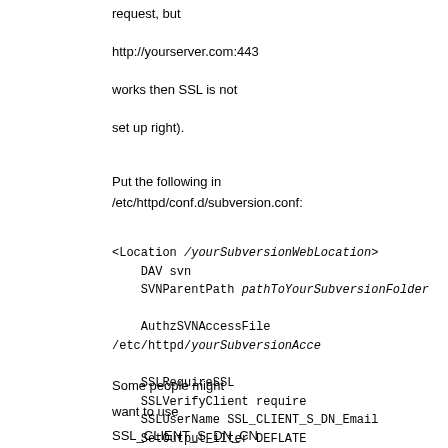request, but
http://yourserver.com:443
works then SSL is not
set up right).
Put the following in
/etc/httpd/conf.d/subversion.conf:
<Location /yourSubversionWebLocation>
    DAV svn
    SVNParentPath pathToYourSubversionFolder

    AuthzSVNAccessFile /etc/httpd/yourSubversionAcce

    SSLRequireSSL
    SSLVerifyClient require
    SSLUserName SSL_CLIENT_S_DN_Email
    SetOutputFilter DEFLATE
</Location>
Some people might
want to use
SSL_CLIENT_S_DN_CN